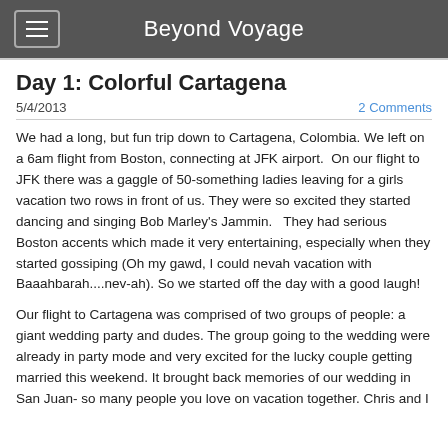Beyond Voyage
Day 1: Colorful Cartagena
5/4/2013
2 Comments
We had a long, but fun trip down to Cartagena, Colombia. We left on a 6am flight from Boston, connecting at JFK airport.  On our flight to JFK there was a gaggle of 50-something ladies leaving for a girls vacation two rows in front of us. They were so excited they started dancing and singing Bob Marley's Jammin.   They had serious Boston accents which made it very entertaining, especially when they started gossiping (Oh my gawd, I could nevah vacation with Baaahbarah....nev-ah). So we started off the day with a good laugh!
Our flight to Cartagena was comprised of two groups of people: a giant wedding party and dudes. The group going to the wedding were already in party mode and very excited for the lucky couple getting married this weekend. It brought back memories of our wedding in San Juan- so many people you love on vacation together. Chris and I